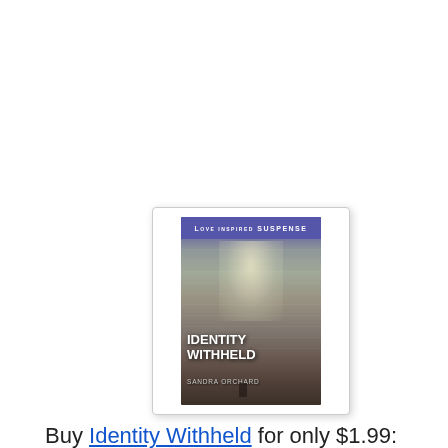[Figure (illustration): Book cover for 'Identity Withheld' by Sandra Orchard, a Love Inspired Suspense novel. The cover shows a snowy winter forest scene with trees covered in snow, a soft glowing light in the background, and a figure in the distance. The title 'Identity Withheld' is displayed in white text and the author name 'Sandra Orchard' appears below. A purple banner at the top reads 'Love Inspired Suspense'. The cover is displayed inside a white rounded-corner box with a light shadow.]
Buy Identity Withheld for only $1.99: